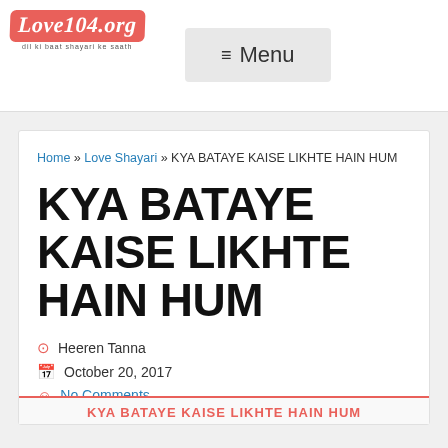Love104.org — Dil ki Baat Shayari ke Saath
≡ Menu
Home » Love Shayari » KYA BATAYE KAISE LIKHTE HAIN HUM
KYA BATAYE KAISE LIKHTE HAIN HUM
Heeren Tanna
October 20, 2017
No Comments
KYA BATAYE KAISE LIKHTE HAIN HUM